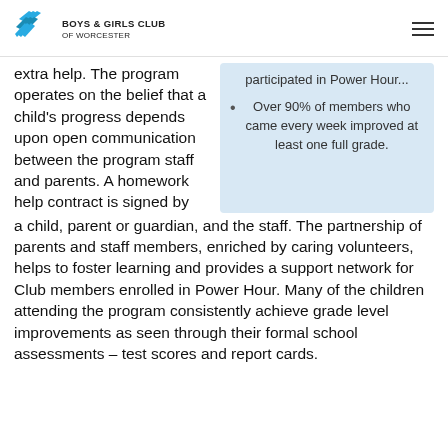BOYS & GIRLS CLUB OF WORCESTER
extra help. The program operates on the belief that a child's progress depends upon open communication between the program staff and parents. A homework help contract is signed by a child, parent or guardian, and the staff. The partnership of parents and staff members, enriched by caring volunteers, helps to foster learning and provides a support network for Club members enrolled in Power Hour. Many of the children attending the program consistently achieve grade level improvements as seen through their formal school assessments – test scores and report cards.
participated in Power Hour...
Over 90% of members who came every week improved at least one full grade.